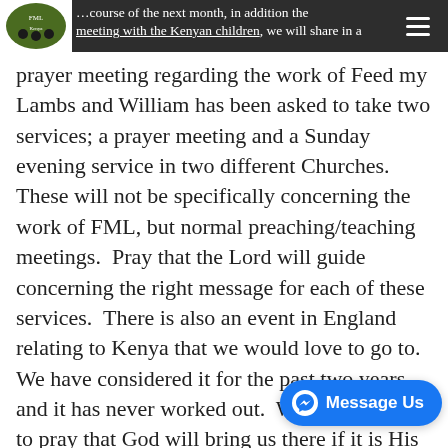…course of the next month, in addition the meeting with the Kenyan children, we will share in a
prayer meeting regarding the work of Feed my Lambs and William has been asked to take two services; a prayer meeting and a Sunday evening service in two different Churches.  These will not be specifically concerning the work of FML, but normal preaching/teaching meetings.  Pray that the Lord will guide concerning the right message for each of these services.  There is also an event in England relating to Kenya that we would love to go to.  We have considered it for the past two years and it has never worked out.  We still continue to pray that God will bring us there if it is His will and time.

In the midst of all of these activities we will celebrate our first wedding anniversary in under two… it has been a wonderful year and we give thanks to God for another year and for such blessings upon us.